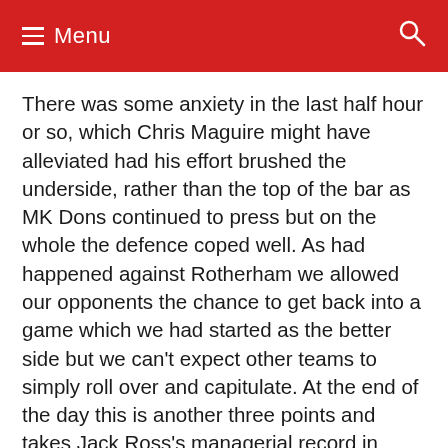Menu
There was some anxiety in the last half hour or so, which Chris Maguire might have alleviated had his effort brushed the underside, rather than the top of the bar as MK Dons continued to press but on the whole the defence coped well. As had happened against Rotherham we allowed our opponents the chance to get back into a game which we had started as the better side but we can't expect other teams to simply roll over and capitulate. At the end of the day this is another three points and takes Jack Ross's managerial record in league games as P 56  W 27  D 23  L 6 which takes him close to the two points a game target he sets himself. We have only lost once in the 28 games which he has supervised at the